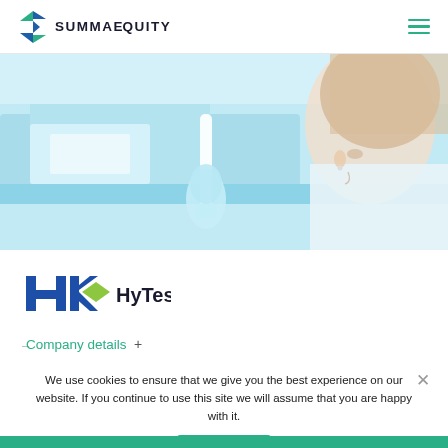SUMMAEQUITY
[Figure (photo): A woman in a white lab coat and blue gloves working in a laboratory with equipment in a blue-tinted environment]
[Figure (logo): HyTest company logo with H and K-shaped mark in blue and green/yellow diamond]
– Company details +
We use cookies to ensure that we give you the best experience on our website. If you continue to use this site we will assume that you are happy with it.
Ok